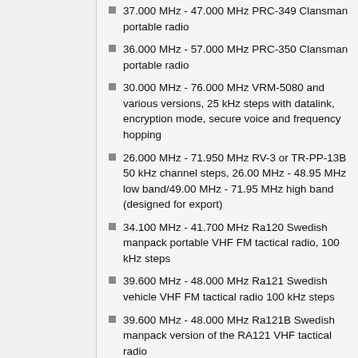37.000 MHz - 47.000 MHz PRC-349 Clansman portable radio
36.000 MHz - 57.000 MHz PRC-350 Clansman portable radio
30.000 MHz - 76.000 MHz VRM-5080 and various versions, 25 kHz steps with datalink, encryption mode, secure voice and frequency hopping
26.000 MHz - 71.950 MHz RV-3 or TR-PP-13B 50 kHz channel steps, 26.00 MHz - 48.95 MHz low band/49.00 MHz - 71.95 MHz high band (designed for export)
34.100 MHz - 41.700 MHz Ra120 Swedish manpack portable VHF FM tactical radio, 100 kHz steps
39.600 MHz - 48.000 MHz Ra121 Swedish vehicle VHF FM tactical radio 100 kHz steps
39.600 MHz - 48.000 MHz Ra121B Swedish manpack version of the RA121 VHF tactical radio
47.000 MHz - 57.000 MHz Ra122 Swedish manpack portable VHF FM tactical radio, 100 kHz steps